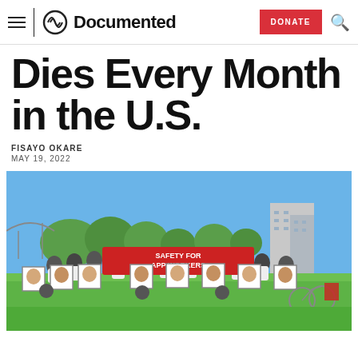Documented
Dies Every Month in the U.S.
FISAYO OKARE
MAY 19, 2022
[Figure (photo): A group of people holding framed portraits and a red banner reading 'SAFETY FOR APP WORKERS' at an outdoor rally in a park, with trees and city buildings in the background.]